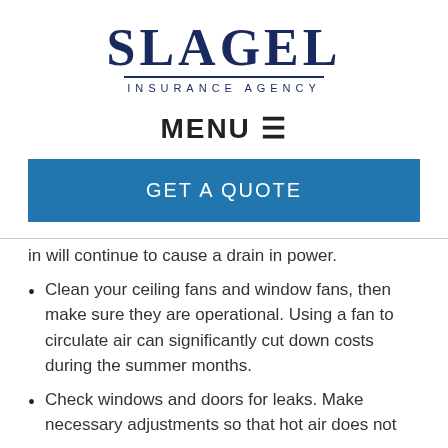[Figure (logo): Slagel Insurance Agency logo with large serif text 'SLAGEL' and smaller spaced caps 'INSURANCE AGENCY' below a horizontal rule]
MENU ≡
GET A QUOTE
in will continue to cause a drain in power.
Clean your ceiling fans and window fans, then make sure they are operational. Using a fan to circulate air can significantly cut down costs during the summer months.
Check windows and doors for leaks. Make necessary adjustments so that hot air does not